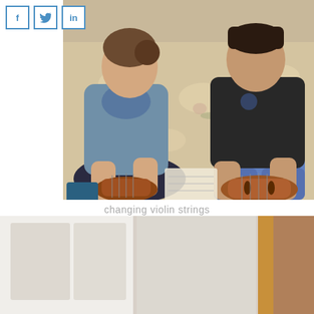[Figure (photo): Social media share buttons: Facebook (f), Twitter (bird icon), LinkedIn (in)]
[Figure (photo): A woman and a teenage boy sitting on a floral couch, both changing violin strings]
changing violin strings
[Figure (photo): Partial view of a room interior with white walls, a wooden door frame, and a small white decorative bird figure visible at the bottom right]